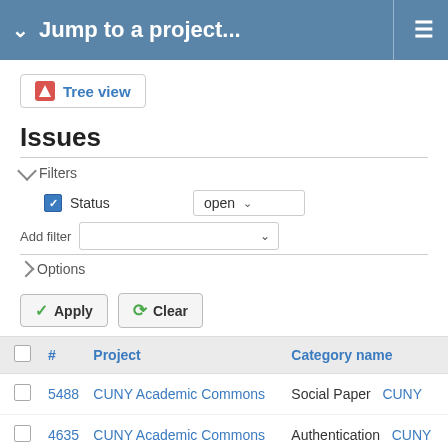Jump to a project...
[Figure (screenshot): Tree view button with orange icon]
Issues
Filters — Status: open, Add filter, Options
Apply | Clear
|  | # | Project | Category name |  |
| --- | --- | --- | --- | --- |
|  | 5488 | CUNY Academic Commons | Social Paper | CUNY |
|  | 4635 | CUNY Academic Commons | Authentication | CUNY |